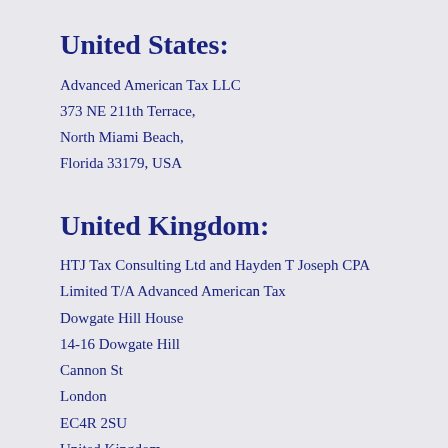United States:
Advanced American Tax LLC
373 NE 211th Terrace,
North Miami Beach,
Florida 33179, USA
United Kingdom:
HTJ Tax Consulting Ltd and Hayden T Joseph CPA Limited T/A Advanced American Tax
Dowgate Hill House
14-16 Dowgate Hill
Cannon St
London
EC4R 2SU
United Kingdom